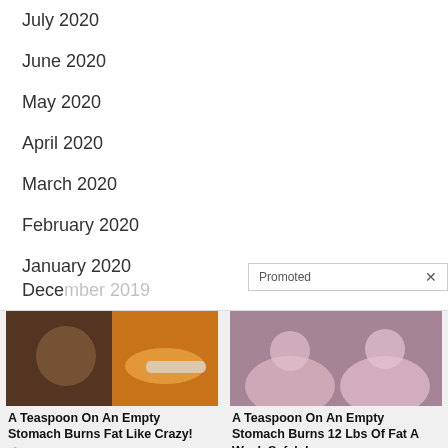July 2020
June 2020
May 2020
April 2020
March 2020
February 2020
January 2020
December 2019 (partial)
Promoted  X
[Figure (photo): Ad image showing muscular person and spoon with spice powder]
A Teaspoon On An Empty Stomach Burns Fat Like Crazy!
🔥 131,409
[Figure (photo): Ad image showing two women in pink pajamas sitting on a couch]
A Teaspoon On An Empty Stomach Burns 12 Lbs Of Fat A Week Safely!
🔥 6,391